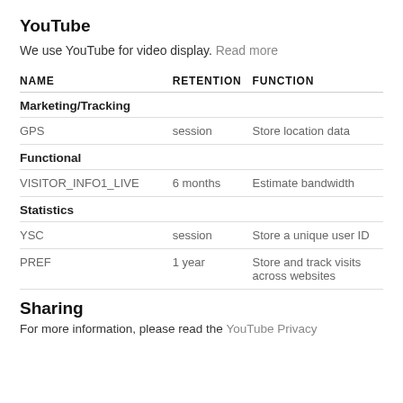YouTube
We use YouTube for video display. Read more
| NAME | RETENTION | FUNCTION |
| --- | --- | --- |
| Marketing/Tracking |  |  |
| GPS | session | Store location data |
| Functional |  |  |
| VISITOR_INFO1_LIVE | 6 months | Estimate bandwidth |
| Statistics |  |  |
| YSC | session | Store a unique user ID |
| PREF | 1 year | Store and track visits across websites |
Sharing
For more information, please read the YouTube Privacy